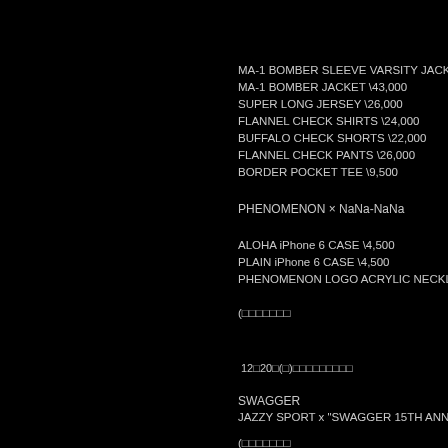MA-1 BOMBER SLEEVE VARSITY JACKET
MA-1 BOMBER JACKET \43,000
SUPER LONG JERSEY \26,000
FLANNEL CHECK SHIRTS \24,000
BUFFALO CHECK SHORTS \22,000
FLANNEL CHECK PANTS \26,000
BORDER POCKET TEE \9,500
PHENOMENON × NaNa-NaNa
ALOHA iPhone 6 CASE \4,500
PLAIN iPhone 6 CASE \4,500
PHENOMENON LOGO ACRYLIC NECKLA...
(□□□□□□□
12□20□(□)□□□□□□□□□
SWAGGER
JAZZY SPORT x "SWAGGER 15TH ANNIVE...
(□□□□□□□